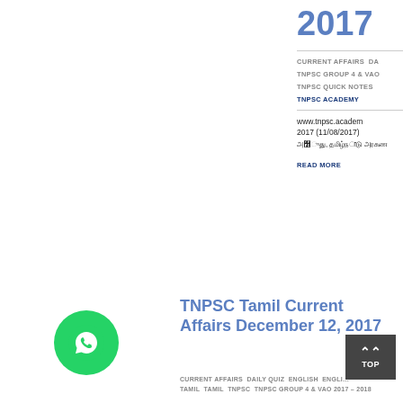2017
CURRENT AFFAIRS  DA...
TNPSC GROUP 4 & VAO...
TNPSC QUICK NOTES
TNPSC ACADEMY
www.tnpsc.academ... 2017 (11/08/2017)
READ MORE
TNPSC Tamil Current Affairs December 12, 2017
CURRENT AFFAIRS  DAILY QUIZ  ENGLISH  ENGLISH...
TAMIL  TAMIL  TNPSC  TNPSC GROUP 4 & VAO 2017 – 2018